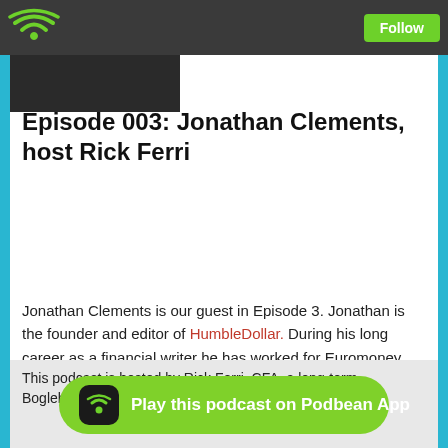Podbean app header with WiFi logo and Follow button
Episode 003: Jonathan Clements, host Rick Ferri
Jonathan Clements is our guest in Episode 3. Jonathan is the founder and editor of HumbleDollar. During his long career as a financial writer he has worked for Euromoney, Forbes, and The Wall Street Journal. He is also the author of eight personal finance books, his latest being From Here to Financial Happiness. This interview dives into Jonathan's career, his books, the FIRE movement, how money can buy you happiness, investment fees and why he was an early advocate for low-cost index funds. The podcast is approximately 55 minutes long.
This podcast is hosted by Rick Ferri. CFA, a long-term Boglehead... are a group...